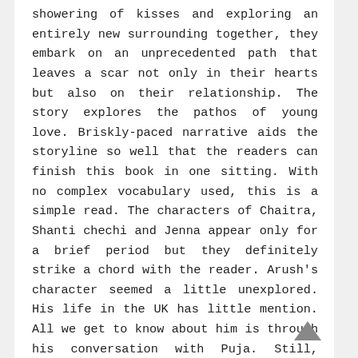showering of kisses and exploring an entirely new surrounding together, they embark on an unprecedented path that leaves a scar not only in their hearts but also on their relationship. The story explores the pathos of young love. Briskly-paced narrative aids the storyline so well that the readers can finish this book in one sitting. With no complex vocabulary used, this is a simple read. The characters of Chaitra, Shanti chechi and Jenna appear only for a brief period but they definitely strike a chord with the reader. Arush's character seemed a little unexplored. His life in the UK has little mention. All we get to know about him is through his conversation with Puja. Still, certain aspects of his personality like his inclination towards various forms of arts and his appreciation for creativity were commendable. Puja, on the other hand, is like every other rebellious young girl who is tied down by the